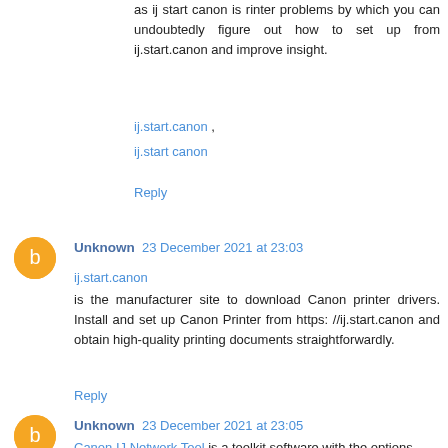as ij start canon is rinter problems by which you can undoubtedly figure out how to set up from ij.start.canon and improve insight.
ij.start.canon ,
ij.start canon
Reply
Unknown 23 December 2021 at 23:03
ij.start.canon
is the manufacturer site to download Canon printer drivers. Install and set up Canon Printer from https: //ij.start.canon and obtain high-quality printing documents straightforwardly.
Reply
Unknown 23 December 2021 at 23:05
Canon IJ Network Tool is a toolkit software with the options...